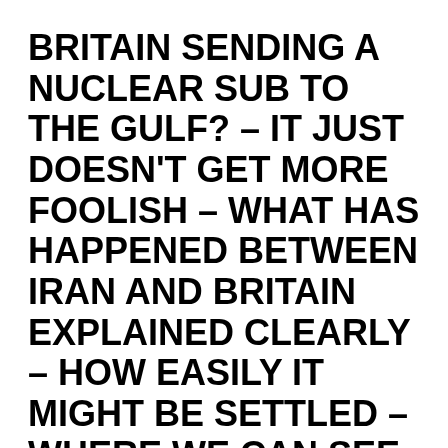BRITAIN SENDING A NUCLEAR SUB TO THE GULF? – IT JUST DOESN'T GET MORE FOOLISH – WHAT HAS HAPPENED BETWEEN IRAN AND BRITAIN EXPLAINED CLEARLY – HOW EASILY IT MIGHT BE SETTLED – WHERE WE CAN SEE REASON HERE
John Chuckman
COMMENT TO A REPORT THAT THE BRITISH NAVY IS RUSHING A NUCLEAR SUBMARINE TO THE PERSIAN